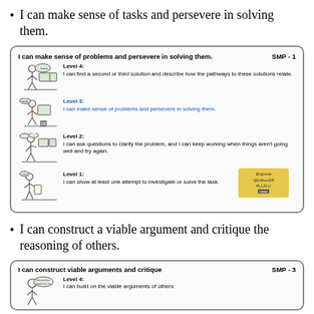I can make sense of tasks and persevere in solving them.
[Figure (infographic): SMP-1 card showing 4 levels of 'I can make sense of problems and persevere in solving them.' with stick figure illustrations. Level 4: I can find a second or third solution and describe how the pathways to these solutions relate. Level 3 (blue): I can make sense of problems and persevere in solving them. Level 2: I can ask questions to clarify the problem, and I can keep working when things aren't going well and try again. Level 1: I can show at least one attempt to investigate or solve the task. Includes a sticky note with attribution.]
I can construct a viable argument and critique the reasoning of others.
[Figure (infographic): SMP-3 card showing 'I can construct viable arguments and critique' with Level 4: I can build on the viable arguments of others...]